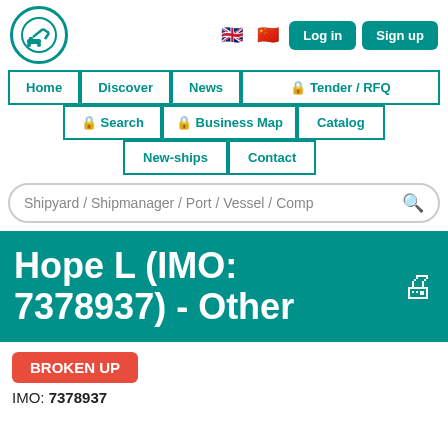[Figure (logo): Ship recycling platform logo - circular icon with excavator/crane]
Log in  Sign up
Home | Discover | News | Tender / RFQ | Search | Business Map | Catalog | New-ships | Contact
Shipyard / Shipmanager / Port / Vessel / Comp
Hope L (IMO: 7378937) - Other
BROKEN UP
IMO: 7378937